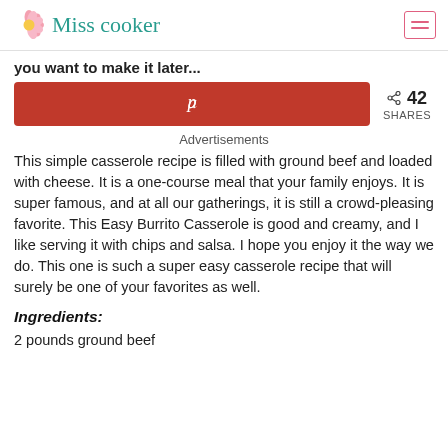Miss cooker
you want to make it later...
[Figure (other): Pinterest share button (red) with share count: 42 SHARES]
Advertisements
This simple casserole recipe is filled with ground beef and loaded with cheese. It is a one-course meal that your family enjoys. It is super famous, and at all our gatherings, it is still a crowd-pleasing favorite. This Easy Burrito Casserole is good and creamy, and I like serving it with chips and salsa. I hope you enjoy it the way we do. This one is such a super easy casserole recipe that will surely be one of your favorites as well.
Ingredients:
2 pounds ground beef